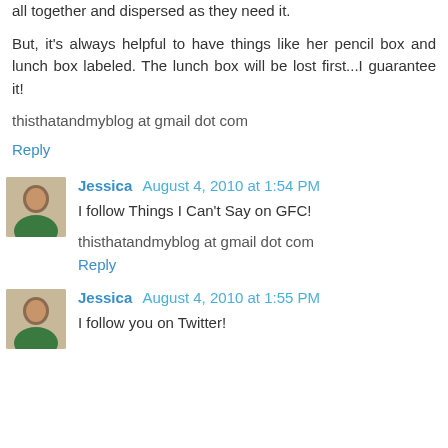supplies labeled because we usually thrown into a big box all together and dispersed as they need it.
But, it's always helpful to have things like her pencil box and lunch box labeled. The lunch box will be lost first...I guarantee it!
thisthatandmyblog at gmail dot com
Reply
Jessica  August 4, 2010 at 1:54 PM
I follow Things I Can't Say on GFC!
thisthatandmyblog at gmail dot com
Reply
Jessica  August 4, 2010 at 1:55 PM
I follow you on Twitter!